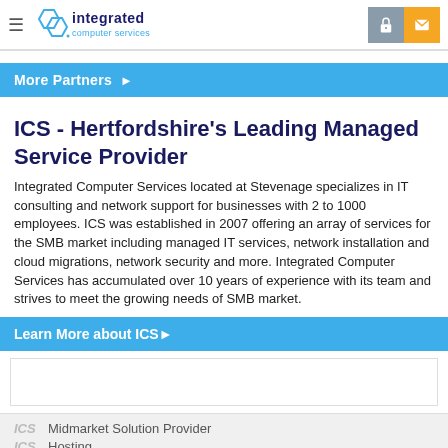Integrated Computer Services — site header with logo, navigation hamburger, lock icon, and mail icon
More Partners ▶
ICS - Hertfordshire's Leading Managed Service Provider
Integrated Computer Services located at Stevenage specializes in IT consulting and network support for businesses with 2 to 1000 employees. ICS was established in 2007 offering an array of services for the SMB market including managed IT services, network installation and cloud migrations, network security and more. Integrated Computer Services has accumulated over 10 years of experience with its team and strives to meet the growing needs of SMB market.
Learn More about ICS▶
ICS Midmarket Solution Provider
ICS Hosting
ICS Datacenter